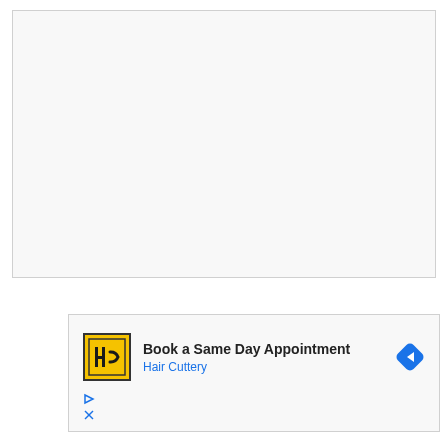[Figure (other): Large blank/white content area box with light gray background and border]
[Figure (other): Advertisement for Hair Cuttery – Book a Same Day Appointment, showing HC logo and navigation icon]